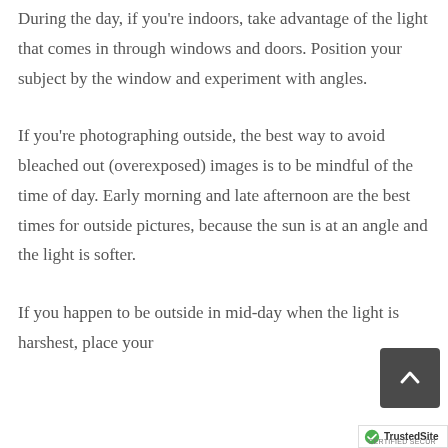During the day, if you're indoors, take advantage of the light that comes in through windows and doors. Position your subject by the window and experiment with angles.
If you're photographing outside, the best way to avoid bleached out (overexposed) images is to be mindful of the time of day. Early morning and late afternoon are the best times for outside pictures, because the sun is at an angle and the light is softer.
If you happen to be outside in mid-day when the light is harshest, place your